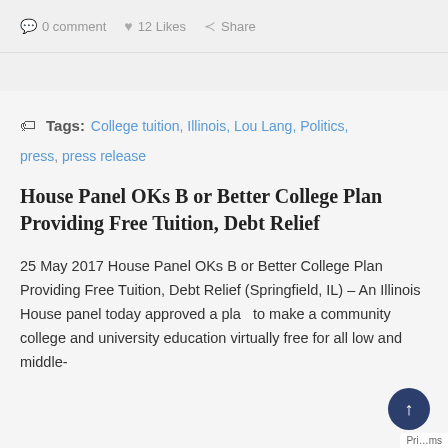0 comment   12 Likes   Share
Tags: College tuition, Illinois, Lou Lang, Politics, press, press release
House Panel OKs B or Better College Plan Providing Free Tuition, Debt Relief
25 May 2017 House Panel OKs B or Better College Plan Providing Free Tuition, Debt Relief (Springfield, IL) – An Illinois House panel today approved a plan to make a community college and university education virtually free for all low and middle-